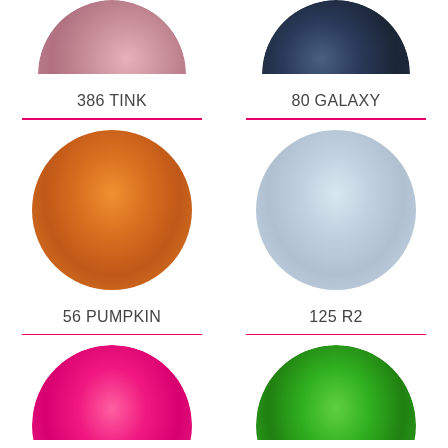[Figure (illustration): Top half of rose-gold glitter circle swatch labeled 386 TINK]
[Figure (illustration): Top half of dark navy/galaxy glitter circle swatch labeled 80 GALAXY]
386 TINK
80 GALAXY
[Figure (illustration): Full orange glitter circle swatch labeled 56 PUMPKIN]
[Figure (illustration): Full silver/holographic glitter circle swatch labeled 125 R2]
56 PUMPKIN
125 R2
[Figure (illustration): Bottom-cropped hot pink glitter circle swatch]
[Figure (illustration): Bottom-cropped green glitter circle swatch]